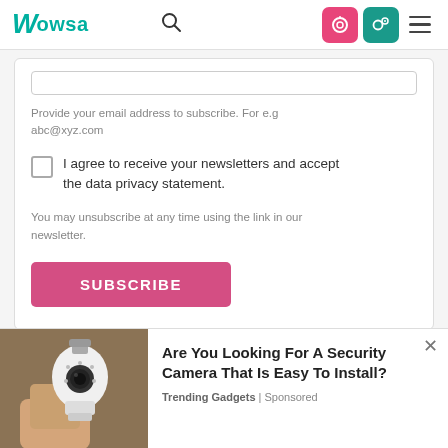Wowsa
Provide your email address to subscribe. For e.g abc@xyz.com
I agree to receive your newsletters and accept the data privacy statement.
You may unsubscribe at any time using the link in our newsletter.
SUBSCRIBE
[Figure (photo): Photo of a person holding a smart light bulb security camera]
Are You Looking For A Security Camera That Is Easy To Install? Trending Gadgets | Sponsored